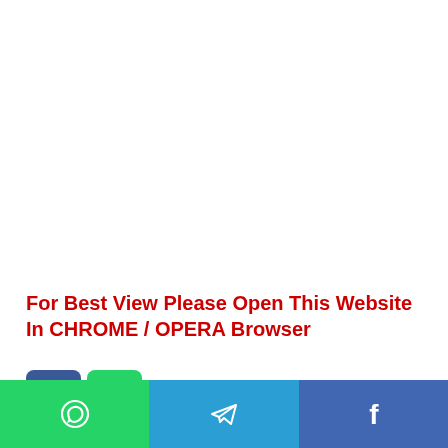For Best View Please Open This Website In CHROME / OPERA Browser
[Figure (logo): Facebook square icon (blue background with white F letter) and WhatsApp icon (green background with white phone/chat logo)]
[Figure (infographic): Bottom sharing bar with three sections: WhatsApp (green, white phone icon), Telegram (blue, white paper plane icon), Facebook (dark blue, white F letter)]